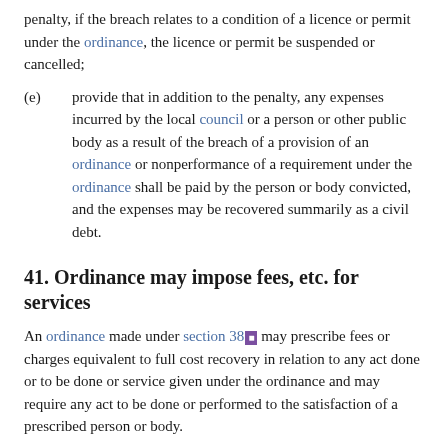penalty, if the breach relates to a condition of a licence or permit under the ordinance, the licence or permit be suspended or cancelled;
(e)   provide that in addition to the penalty, any expenses incurred by the local council or a person or other public body as a result of the breach of a provision of an ordinance or nonperformance of a requirement under the ordinance shall be paid by the person or body convicted, and the expenses may be recovered summarily as a civil debt.
41. Ordinance may impose fees, etc. for services
An ordinance made under section 38 may prescribe fees or charges equivalent to full cost recovery in relation to any act done or to be done or service given under the ordinance and may require any act to be done or performed to the satisfaction of a prescribed person or body.
42. Scope of an ordinance